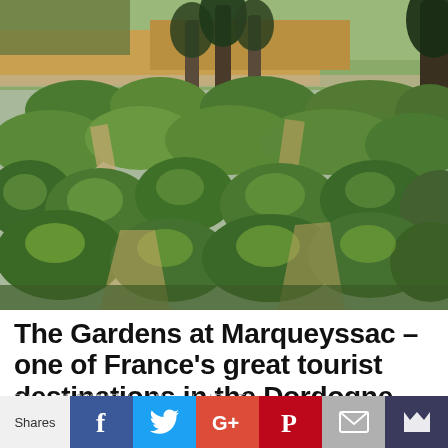[Figure (photo): Aerial view of the formal topiary gardens at Marqueyssac, Dordogne, France. Elaborate clipped boxwood hedges in rounded organic shapes fill the foreground, with tall cypress trees and countryside visible in the background.]
The Gardens at Marqueyssac – one of France's great tourist destinations in the Dordogne
February 1, 2018 / Richard Alexander / Day Trip